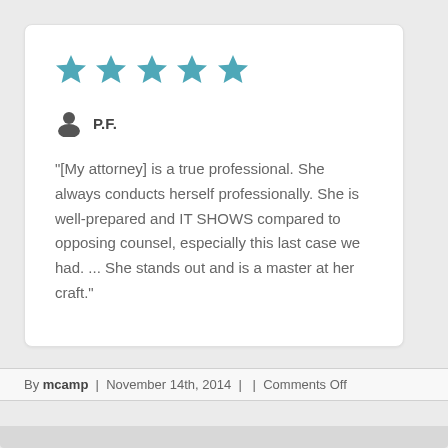[Figure (other): Five teal/blue star rating icons indicating a 5-star review]
P.F.
"[My attorney] is a true professional. She always conducts herself professionally. She is well-prepared and IT SHOWS compared to opposing counsel, especially this last case we had. ... She stands out and is a master at her craft."
By mcamp | November 14th, 2014 |  | Comments Off